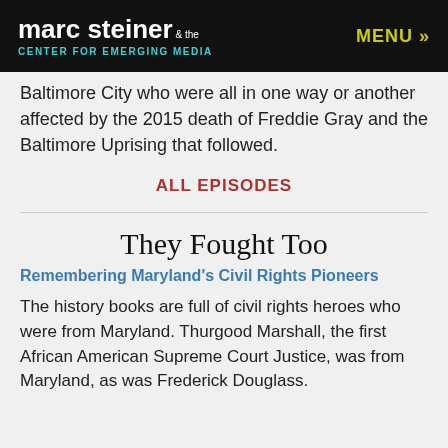marc steiner & the CENTER FOR EMERGING MEDIA   MENU »
Baltimore City who were all in one way or another affected by the 2015 death of Freddie Gray and the Baltimore Uprising that followed.
ALL EPISODES
They Fought Too
Remembering Maryland's Civil Rights Pioneers
The history books are full of civil rights heroes who were from Maryland. Thurgood Marshall, the first African American Supreme Court Justice, was from Maryland, as was Frederick Douglass.